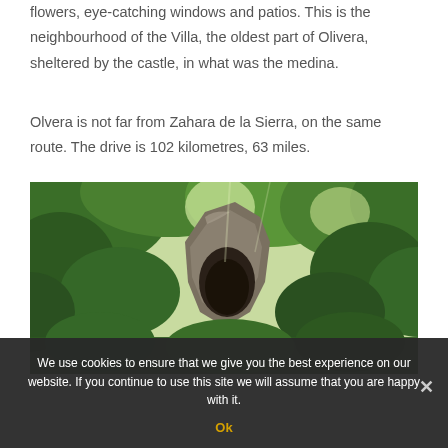flowers, eye-catching windows and patios. This is the neighbourhood of the Villa, the oldest part of Olivera, sheltered by the castle, in what was the medina.
Olvera is not far from Zahara de la Sierra, on the same route. The drive is 102 kilometres, 63 miles.
[Figure (photo): Outdoor photo showing a rocky cave or arch formation surrounded by lush green trees and vegetation, sunlight filtering through the canopy.]
We use cookies to ensure that we give you the best experience on our website. If you continue to use this site we will assume that you are happy with it.
Ok